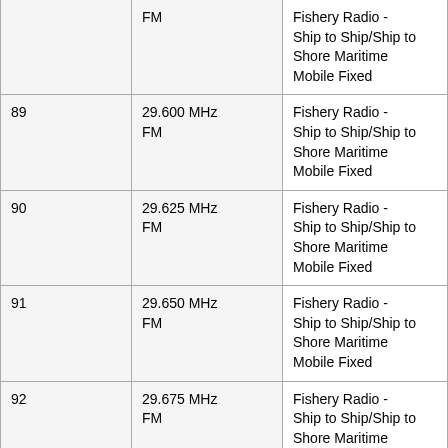| Channel | Frequency/Mode | Use |
| --- | --- | --- |
| 88 | FM | Fishery Radio - Ship to Ship/Ship to Shore Maritime Mobile Fixed |
| 89 | 29.600 MHz FM | Fishery Radio - Ship to Ship/Ship to Shore Maritime Mobile Fixed |
| 90 | 29.625 MHz FM | Fishery Radio - Ship to Ship/Ship to Shore Maritime Mobile Fixed |
| 91 | 29.650 MHz FM | Fishery Radio - Ship to Ship/Ship to Shore Maritime Mobile Fixed |
| 92 | 29.675 MHz FM | Fishery Radio - Ship to Ship/Ship to Shore Maritime Mobile Fixed |
| 93 | 29.700 MHz FM | Fishery Radio - Ship to Ship/Ship to Shore Maritime Mobile Fixed |